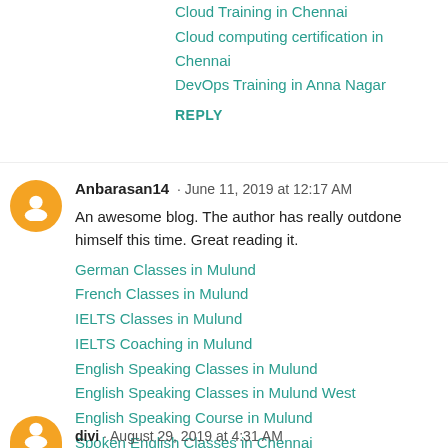Cloud computing certification in Chennai
DevOps Training in Anna Nagar
REPLY
Anbarasan14 · June 11, 2019 at 12:17 AM
An awesome blog. The author has really outdone himself this time. Great reading it.
German Classes in Mulund
French Classes in Mulund
IELTS Classes in Mulund
IELTS Coaching in Mulund
English Speaking Classes in Mulund
English Speaking Classes in Mulund West
English Speaking Course in Mulund
Spoken English Classes in Chennai
IELTS Coaching in Chennai
REPLY
divi · August 29, 2019 at 4:31 AM